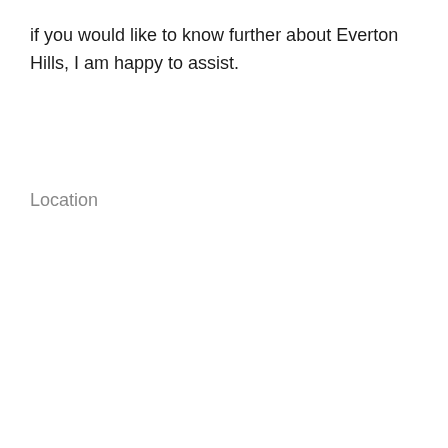if you would like to know further about Everton Hills, I am happy to assist.
Location